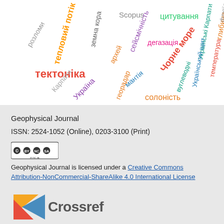[Figure (other): Word cloud with Ukrainian and English geophysics-related keywords in various colors and orientations: розломи, тепловий потік, земна кора, Scopus, сейсмічність, цитування, дегазація, тектоніка, архей, Чорне море, вуглеводні, Карпати, Україна, мантія, георадар, солоність, український щит, Українські Карпати, температура, глибина, флюїди]
Geophysical Journal
ISSN: 2524-1052 (Online), 0203-3100 (Print)
[Figure (logo): Creative Commons BY NC SA license badge]
Geophysical Journal is licensed under a Creative Commons Attribution-NonCommercial-ShareAlike 4.0 International License
[Figure (logo): Crossref logo with colored triangular shapes and the word Crossref]